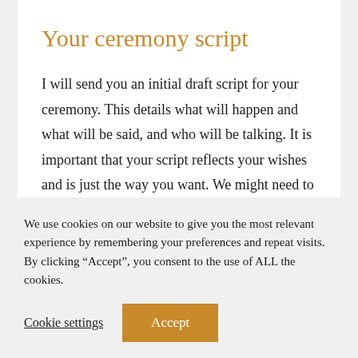Your ceremony script
I will send you an initial draft script for your ceremony. This details what will happen and what will be said, and who will be talking. It is important that your script reflects your wishes and is just the way you want. We might need to
We use cookies on our website to give you the most relevant experience by remembering your preferences and repeat visits. By clicking “Accept”, you consent to the use of ALL the cookies.
Cookie settings   Accept